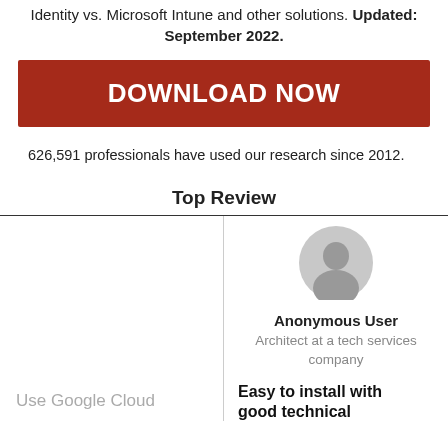Identity vs. Microsoft Intune and other solutions. Updated: September 2022.
DOWNLOAD NOW
626,591 professionals have used our research since 2012.
Top Review
[Figure (illustration): Anonymous user avatar — a grey silhouette of a person inside a grey circle]
Anonymous User
Architect at a tech services company
Easy to install with good technical
Use Google Cloud